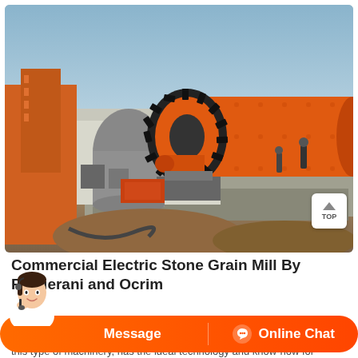[Figure (photo): Outdoor industrial scene showing a large orange horizontal ball mill with a black gear ring, mounted on a concrete foundation. An orange cylindrical silo is visible on the left. Industrial buildings and hazy sky in background. Workers visible near the machine.]
Commercial Electric Stone Grain Mill By Paglierani and Ocrim
Message
Online Chat
this type of machinery, has the ideal technology and know-how for